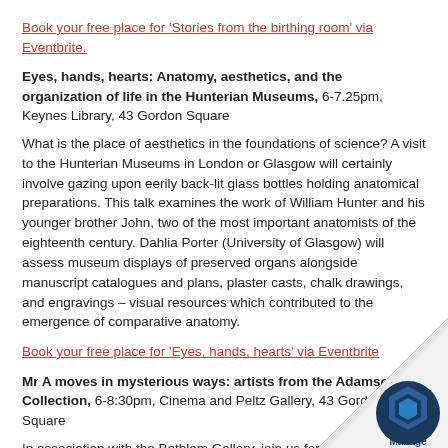Book your free place for 'Stories from the birthing room' via Eventbrite.
Eyes, hands, hearts: Anatomy, aesthetics, and the organization of life in the Hunterian Museums, 6-7.25pm, Keynes Library, 43 Gordon Square
What is the place of aesthetics in the foundations of science? A visit to the Hunterian Museums in London or Glasgow will certainly involve gazing upon eerily back-lit glass bottles holding anatomical preparations. This talk examines the work of William Hunter and his younger brother John, two of the most important anatomists of the eighteenth century. Dahlia Porter (University of Glasgow) will assess museum displays of preserved organs alongside manuscript catalogues and plans, plaster casts, chalk drawings, and engravings – visual resources which contributed to the emergence of comparative anatomy.
Book your free place for 'Eyes, hands, hearts' via Eventbrite
Mr A moves in mysterious ways: artists from the Adamson Collection, 6-8:30pm, Cinema and Peltz Gallery, 43 Gordon Square
In association with the Bethlem Gallery, join us for a panel discussion in [...]ing a new exhibition of works from the Adamson Collection on show in Bir[...] Peltz Gallery. The Adamson Collection is an internationally renowned [...] art objects made by residents of a long-stay British psychiatric hospi[...]1946 and 1981, under the guidance of art-therapy pioneer Edward[...]
[Figure (logo): Folded page corner with a dark blue circular logo containing a hexagon shape and 'Manage' text below]